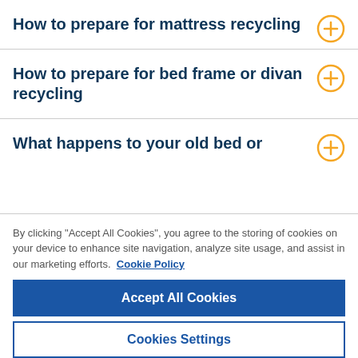How to prepare for mattress recycling
How to prepare for bed frame or divan recycling
What happens to your old bed or
By clicking "Accept All Cookies", you agree to the storing of cookies on your device to enhance site navigation, analyze site usage, and assist in our marketing efforts. Cookie Policy
Accept All Cookies
Cookies Settings